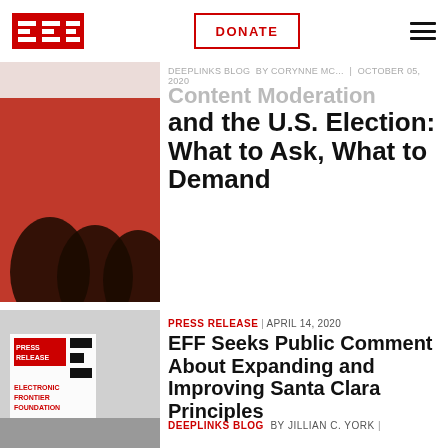EFF | DONATE | menu
[Figure (screenshot): EFF logo top left, DONATE button center, hamburger menu icon top right]
DEEPLINKS BLOG | BY CORYNNE MC... | OCTOBER 05, 2020
Content Moderation and the U.S. Election: What to Ask, What to Demand
[Figure (illustration): Cropped reddish-orange graphic with dark wavy shapes — article thumbnail for content moderation post]
PRESS RELEASE | APRIL 14, 2020
EFF Seeks Public Comment About Expanding and Improving Santa Clara Principles
[Figure (screenshot): EFF Press Release thumbnail: grey background with EFF logo and PRESS RELEASE, ELECTRONIC FRONTIER FOUNDATION text in red and black]
DEEPLINKS BLOG BY JILLIAN C. YORK |